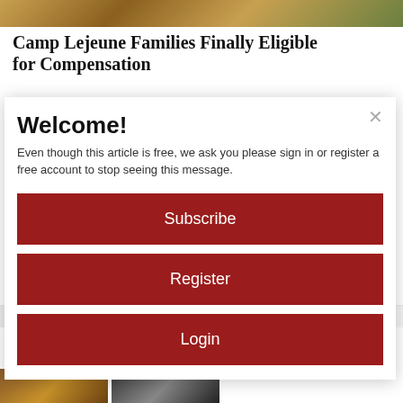Camp Lejeune Families Finally Eligible for Compensation
Welcome!
Even though this article is free, we ask you please sign in or register a free account to stop seeing this message.
[Subscribe] [Register] [Login]
Wrinkles Like Crazy (Try Tonight)
Brilliance